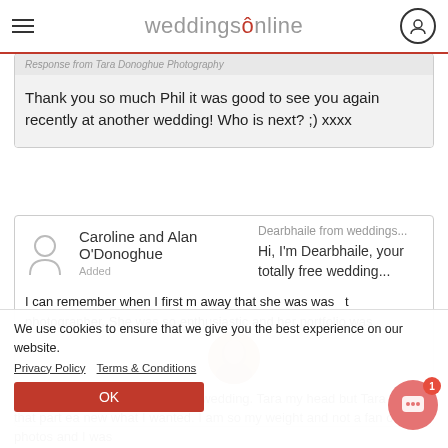weddingsonline
Response from Tara Donoghue Photography
Thank you so much Phil it was good to see you again recently at another wedding! Who is next? ;) xxxx
Caroline and Alan O'Donoghue
Added
Dearbhaile from weddings...
Hi, I'm Dearbhaile, your totally free wedding...
I can remember when I first m away that she was wast photographer. She was so enthusiastic and her portfolio was
We use cookies to ensure that we give you the best experience on our website.
Privacy Policy   Terms & Conditions
OK